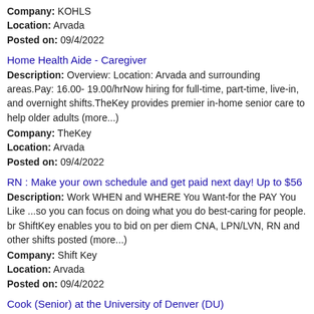Company: KOHLS
Location: Arvada
Posted on: 09/4/2022
Home Health Aide - Caregiver
Description: Overview: Location: Arvada and surrounding areas.Pay: 16.00- 19.00/hrNow hiring for full-time, part-time, live-in, and overnight shifts.TheKey provides premier in-home senior care to help older adults (more...)
Company: TheKey
Location: Arvada
Posted on: 09/4/2022
RN : Make your own schedule and get paid next day! Up to $56
Description: Work WHEN and WHERE You Want-for the PAY You Like ...so you can focus on doing what you do best-caring for people. br ShiftKey enables you to bid on per diem CNA, LPN/LVN, RN and other shifts posted (more...)
Company: Shift Key
Location: Arvada
Posted on: 09/4/2022
Cook (Senior) at the University of Denver (DU)